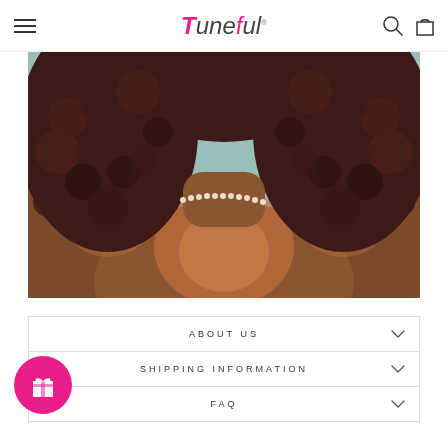Tuneful
[Figure (photo): Close-up photo of a woman's back with long dark curly hair and a pearl choker necklace, against a teal/mint background.]
ABOUT US
SHIPPING INFORMATION
FAQ